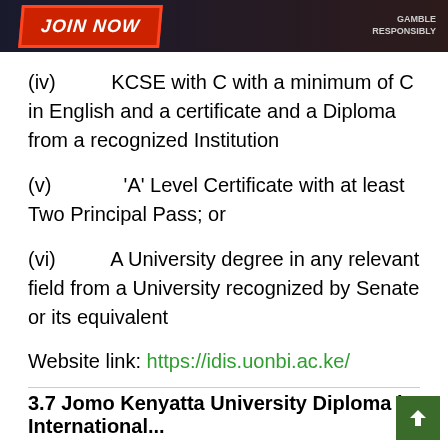[Figure (screenshot): Advertisement banner with JOIN NOW text in red and GAMBLE RESPONSIBLY text on dark background]
(iv)  KCSE with C with a minimum of C in English and a certificate and a Diploma from a recognized Institution
(v)  'A' Level Certificate with at least Two Principal Pass; or
(vi)  A University degree in any relevant field from a University recognized by Senate or its equivalent
Website link: https://idis.uonbi.ac.ke/
3.7 Jomo Kenyatta University International...